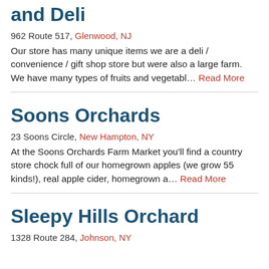and Deli
962 Route 517, Glenwood, NJ
Our store has many unique items we are a deli / convenience / gift shop store but were also a large farm. We have many types of fruits and vegetabl… Read More
Soons Orchards
23 Soons Circle, New Hampton, NY
At the Soons Orchards Farm Market you'll find a country store chock full of our homegrown apples (we grow 55 kinds!), real apple cider, homegrown a… Read More
Sleepy Hills Orchard
1328 Route 284, Johnson, NY